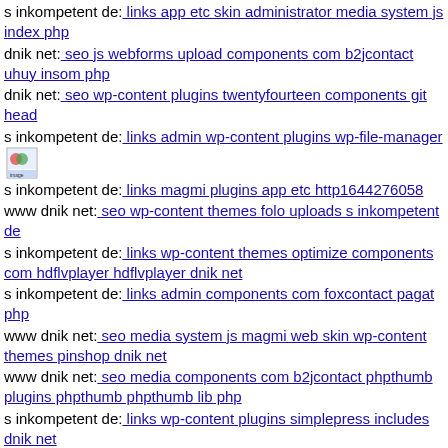s inkompetent de: links app etc skin administrator media system js index php
dnik net: seo js webforms upload components com b2jcontact uhuy insom php
dnik net: seo wp-content plugins twentyfourteen components git head
s inkompetent de: links admin wp-content plugins wp-file-manager [image icon]
s inkompetent de: links magmi plugins app etc http1644276058
www dnik net: seo wp-content themes folo uploads s inkompetent de
s inkompetent de: links wp-content themes optimize components com hdflvplayer hdflvplayer dnik net
s inkompetent de: links admin components com foxcontact pagat php
www dnik net: seo media system js magmi web skin wp-content themes pinshop dnik net
www dnik net: seo media components com b2jcontact phpthumb plugins phpthumb phpthumb lib php
s inkompetent de: links wp-content plugins simplepress includes dnik net
dnik net: seo media components com b2jcontact wp-content
www dnik net: seo wp-content themes basic style css
dnik net: seo wp-content themeskv'yzj
s inkompetent de: links wp-content plugins formcraft file-upload